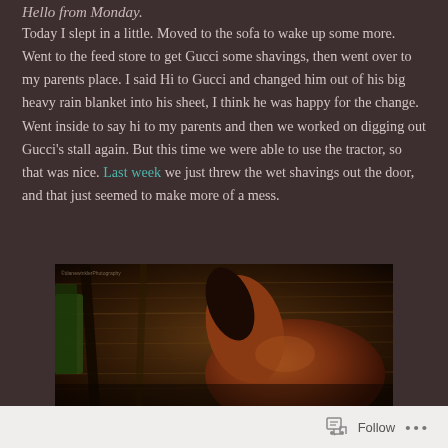Hello from Monday.
Today I slept in a little. Moved to the sofa to wake up some more. Went to the feed store to get Gucci some shavings, then went over to my parents place. I said Hi to Gucci and changed him out of his big heavy rain blanket into his sheet, I think he was happy for the change. Went inside to say hi to my parents and then we worked on digging out Gucci's stall again. But this time we were able to use the tractor, so that was nice. Last week we just threw the wet shavings out the door, and that just seemed to make more of a mess.
[Figure (photo): Close-up photo of a brown/chestnut horse in a barn stall with wooden beam visible, warm dark tones, hay-covered floor]
Follow ···